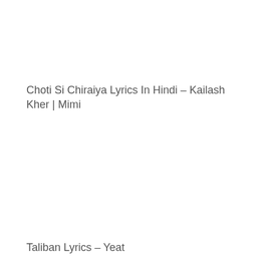Choti Si Chiraiya Lyrics In Hindi – Kailash Kher | Mimi
Taliban Lyrics – Yeat